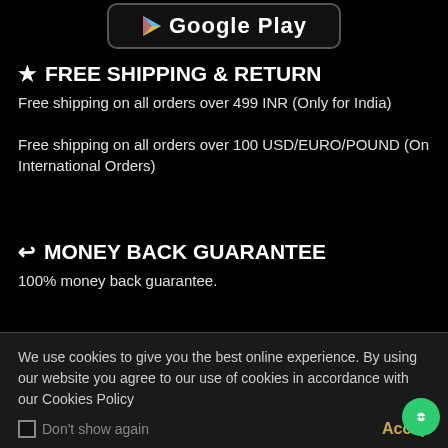[Figure (screenshot): Google Play store button at top of page]
★ FREE SHIPPING & RETURN
Free shipping on all orders over 499 INR (Only for India)

Free shipping on all orders over 100 USD/EURO/POUND (On International Orders)
↩ MONEY BACK GUARANTEE
100% money back guarantee.
👤 ONLINE SUPPORT 24/7
Our team will be available for support all the time.
We use cookies to give you the best online experience. By using our website you agree to our use of cookies in accordance with our Cookies Policy
Don't show again   Accept